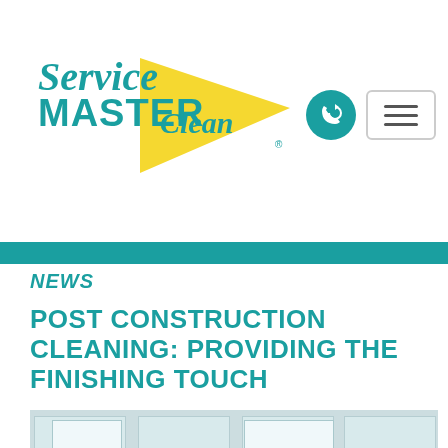[Figure (logo): ServiceMaster Clean logo with teal italic text 'ServiceMaster' and 'Clean' on a yellow right-pointing triangle]
[Figure (other): Teal circular phone/call button icon]
[Figure (other): Hamburger menu button with three horizontal lines, grey border]
NEWS
POST CONSTRUCTION CLEANING: PROVIDING THE FINISHING TOUCH
[Figure (photo): Interior photo of a construction site with ceiling tiles and fluorescent lighting, a worker visible at the bottom]